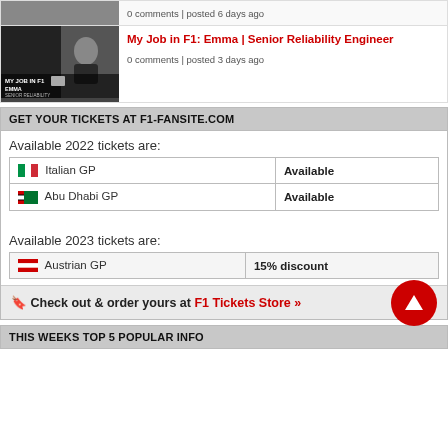0 comments | posted 6 days ago
My Job in F1: Emma | Senior Reliability Engineer
0 comments | posted 3 days ago
GET YOUR TICKETS AT F1-FANSITE.COM
Available 2022 tickets are:
| GP | Status |
| --- | --- |
| 🇮🇹 Italian GP | Available |
| 🇦🇪 Abu Dhabi GP | Available |
Available 2023 tickets are:
| GP | Discount |
| --- | --- |
| 🇦🇹 Austrian GP | 15% discount |
🔖 Check out & order yours at F1 Tickets Store »
THIS WEEKS TOP 5 POPULAR INFO